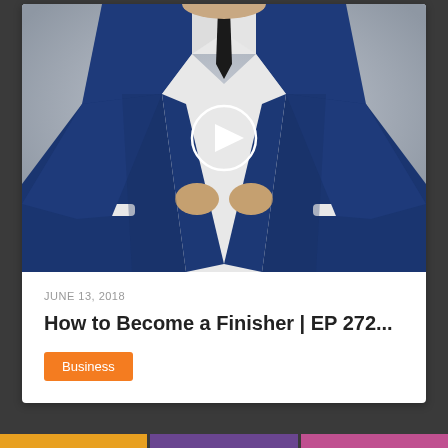[Figure (photo): Man in navy blue suit adjusting jacket buttons, with a play button overlay circle in the center of the image]
JUNE 13, 2018
How to Become a Finisher | EP 272...
Business